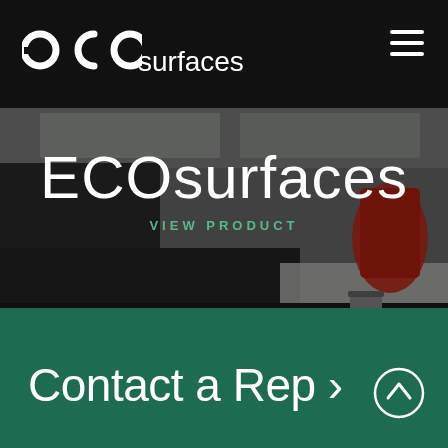ECOsurfaces
[Figure (photo): Interior office/cafeteria scene with dark surfaces, a red chair, white table surface, and a coffee mug, shown with a dark overlay]
ECOsurfaces
VIEW PRODUCT
Contact a Rep >